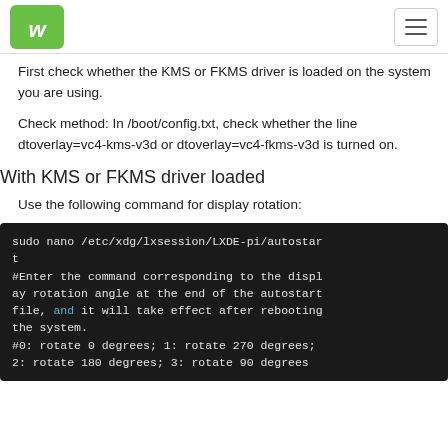[Waveshare logo] [hamburger menu]
First check whether the KMS or FKMS driver is loaded on the system you are using.
Check method: In /boot/config.txt, check whether the line dtoverlay=vc4-kms-v3d or dtoverlay=vc4-fkms-v3d is turned on.
With KMS or FKMS driver loaded
Use the following command for display rotation:
[Figure (screenshot): Dark terminal code block showing: sudo nano /etc/xdg/lxsession/LXDE-pi/autostart
#Enter the command corresponding to the display rotation angle at the end of the autostart file, and it will take effect after rebooting the system.
#0: rotate 0 degrees; 1: rotate 270 degrees;
2: rotate 180 degrees; 3: rotate 90 degrees]